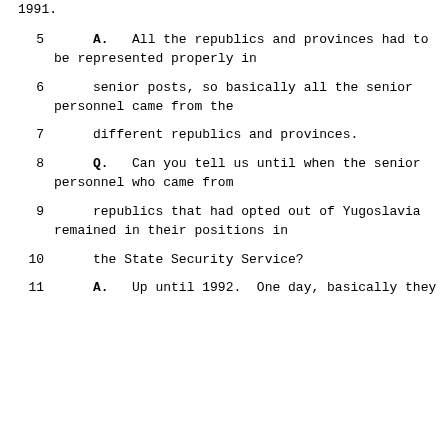1991.
5    A.   All the republics and provinces had to be represented properly in
6        senior posts, so basically all the senior personnel came from the
7        different republics and provinces.
8    Q.   Can you tell us until when the senior personnel who came from
9        republics that had opted out of Yugoslavia remained in their positions in
10       the State Security Service?
11   A.   Up until 1992.  One day, basically they